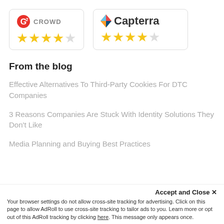[Figure (logo): G2 Crowd logo with 4.5 star rating]
[Figure (logo): Capterra logo with 4.5 star rating]
From the blog
Effective Alternatives To Third-Party Cookies For DTC Companies
3 Reasons Companies Are Stuck With Identity Solutions They Don't Like
Media Planning and Buying Best Practices
Accept and Close ✕
Your browser settings do not allow cross-site tracking for advertising. Click on this page to allow AdRoll to use cross-site tracking to tailor ads to you. Learn more or opt out of this AdRoll tracking by clicking here. This message only appears once.